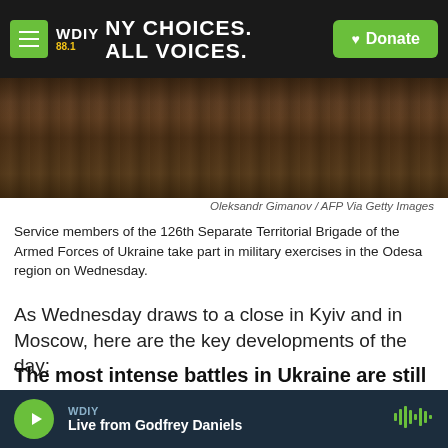WDIY 88.1 — NY CHOICES. ALL VOICES. | Donate
[Figure (photo): Service members of the 126th Separate Territorial Brigade of the Armed Forces of Ukraine during military exercises in the Odesa region, showing soldiers on ground with earthen/wooden terrain visible.]
Oleksandr Gimanov / AFP Via Getty Images
Service members of the 126th Separate Territorial Brigade of the Armed Forces of Ukraine take part in military exercises in the Odesa region on Wednesday.
As Wednesday draws to a close in Kyiv and in Moscow, here are the key developments of the day:
The most intense battles in Ukraine are still taking place in the east, but fighting has been picking up in the north and south of the country as well.
WDIY — Live from Godfrey Daniels